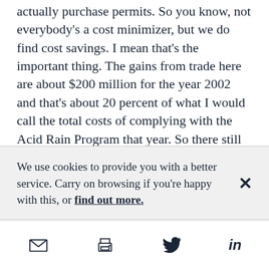actually purchase permits. So you know, not everybody's a cost minimizer, but we do find cost savings. I mean that's the important thing. The gains from trade here are about $200 million for the year 2002 and that's about 20 percent of what I would call the total costs of complying with the Acid Rain Program that year. So there still were savings, significant savings generated by the Acid
We use cookies to provide you with a better service. Carry on browsing if you're happy with this, or find out more.